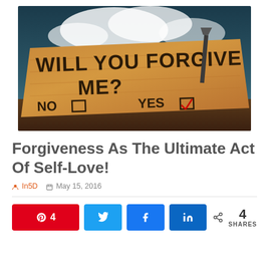[Figure (photo): Wooden sign with text 'WILL YOU FORGIVE ME? NO [] YES [checked]' nailed to a dark surface with stormy sky background]
Forgiveness As The Ultimate Act Of Self-Love!
In5D   May 15, 2016
[Figure (infographic): Social share bar with Pinterest (4), Twitter, Facebook, LinkedIn buttons and total 4 SHARES count]